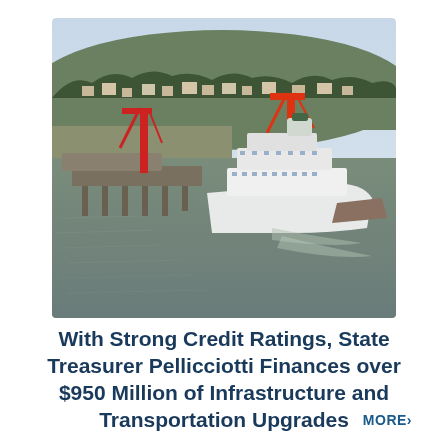[Figure (photo): Aerial view of a ferry terminal with a large white ferry docked, construction cranes (red and orange) visible on the dock, murky brown water, and a residential hillside town with evergreen trees in the background under an overcast sky.]
With Strong Credit Ratings, State Treasurer Pellicciotti Finances over $950 Million of Infrastructure and Transportation Upgrades
MORE›